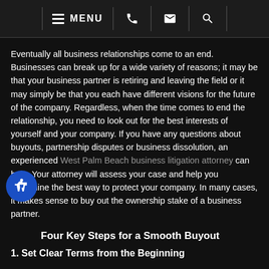MENU [navigation icons: phone, email, search]
Eventually all business relationships come to an end. Businesses can break up for a wide variety of reasons; it may be that your business partner is retiring and leaving the field or it may simply be that you each have different visions for the future of the company. Regardless, when the time comes to end the relationship, you need to look out for the best interests of yourself and your company. If you have any questions about buyouts, partnership disputes or business dissolution, an experienced West Palm Beach business litigation attorney can help. Your attorney will assess your case and help you determine the best way to protect your company. In many cases, it makes sense to buy out the ownership stake of a business partner.
Four Key Steps for a Smooth Buyout
1. Set Clear Terms from the Beginning
Buyouts, and all other questions of business dissolution,